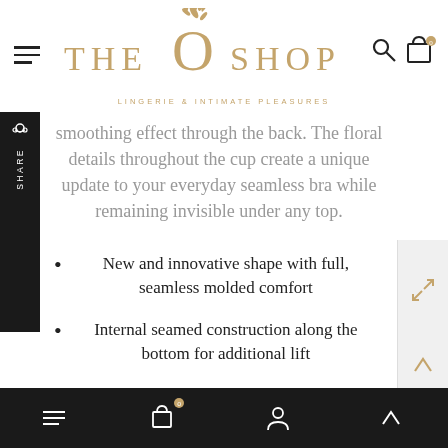THE O SHOP – LINGERIE & INTIMATE PLEASURES
smoothing effect through the back. The floral details throughout the cup create a unique update to your everyday seamless bra while remaining invisible under any top.
New and innovative shape with full, seamless molded comfort
Internal seamed construction along the bottom for additional lift
Stretch lace in feminine floral pattern
Mesh lining along top
Sheerness at the center gore
Tall leotard band for smoothing the back
Bottom navigation bar